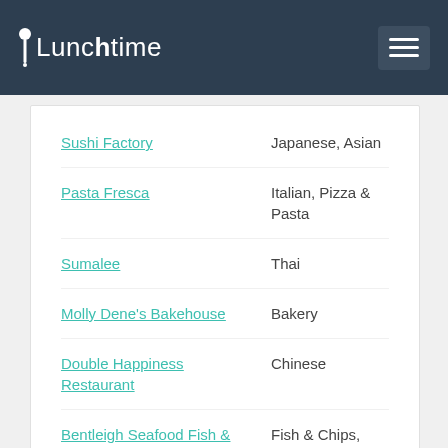Lunchtime
Sushi Factory — Japanese, Asian
Pasta Fresca — Italian, Pizza & Pasta
Sumalee — Thai
Molly Dene's Bakehouse — Bakery
Double Happiness Restaurant — Chinese
Bentleigh Seafood Fish & Chips — Fish & Chips, European, Seafood